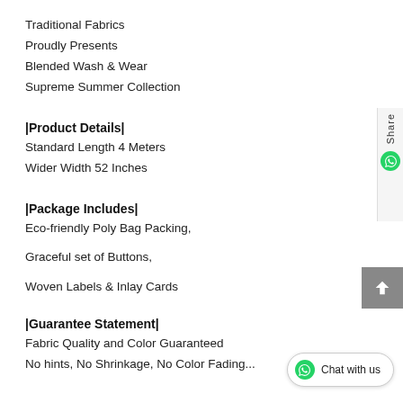Traditional Fabrics
Proudly Presents
Blended Wash & Wear
Supreme Summer Collection
|Product Details|
Standard Length 4 Meters
Wider Width 52 Inches
|Package Includes|
Eco-friendly Poly Bag Packing,
Graceful set of Buttons,
Woven Labels & Inlay Cards
|Guarantee Statement|
Fabric Quality and Color Guaranteed
No hints, No Shrinkage, No Color Fading...